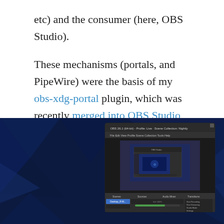etc) and the consumer (here, OBS Studio). These mechanisms (portals, and PipeWire) were the basis of my obs-xdg-portal plugin, which was recently merged into OBS Studio itself as part of the built-in capture plugin! Fortunately, it landed just in time for the release of OBS Studio 27, which means soon everyone will be able to use OBS Studio on Wayland.
[Figure (screenshot): Screenshot of OBS Studio running on a dark blue geometric polygon background (Wayland desktop). The OBS Studio window shows a preview of a screen capture with nested OBS windows visible, along with the scene, sources, audio mixer, and transition controls panels.]